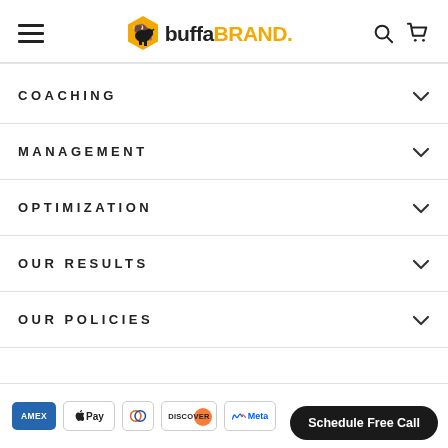[Figure (logo): buffaBRAND logo with hexagon bison icon, hamburger menu, search and cart icons in header]
COACHING
MANAGEMENT
OPTIMIZATION
OUR RESULTS
OUR POLICIES
[Figure (infographic): Payment method badges: AMEX, Apple Pay, Diners Club, Discover, Meta Pay, and a Schedule Free Call CTA button]